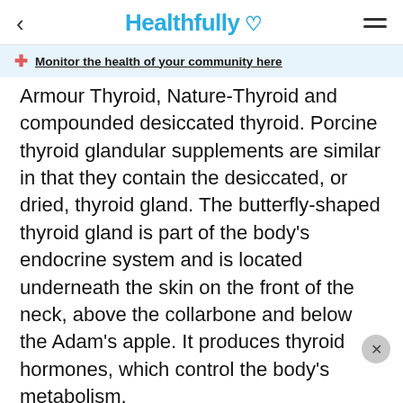Healthfully
Monitor the health of your community here
Armour Thyroid, Nature-Thyroid and compounded desiccated thyroid. Porcine thyroid glandular supplements are similar in that they contain the desiccated, or dried, thyroid gland. The butterfly-shaped thyroid gland is part of the body's endocrine system and is located underneath the skin on the front of the neck, above the collarbone and below the Adam's apple. It produces thyroid hormones, which control the body's metabolism.
Porcine thyroid prescription medications include Armour Thyroid, Nature-Thyroid and